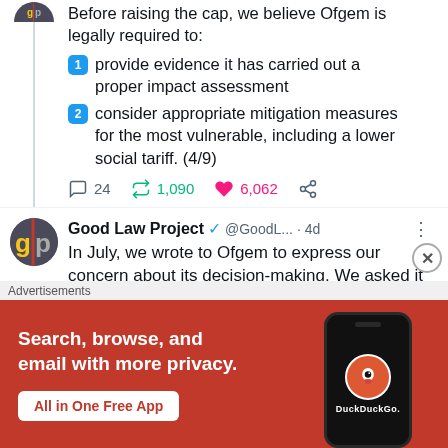Before raising the cap, we believe Ofgem is legally required to: 1 provide evidence it has carried out a proper impact assessment 2 consider appropriate mitigation measures for the most vulnerable, including a lower social tariff. (4/9)
24  1,090  6,062
Good Law Project @GoodL... · 4d
In July, we wrote to Ofgem to express our concern about its decision-making. We asked it to provide proof of its impact assessments. It failed to produce any
Advertisements
[Figure (screenshot): DuckDuckGo advertisement banner with orange background. Text: Search, browse, and email with more privacy. All in One Free App. Shows DuckDuckGo logo and phone mockup.]